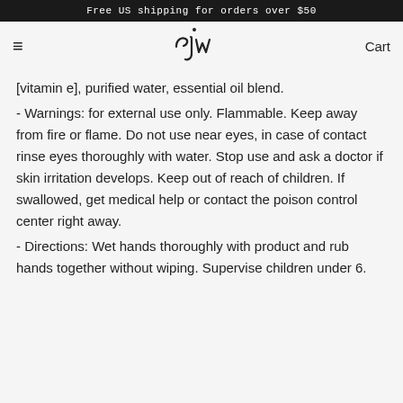Free US shipping for orders over $50
[Figure (logo): Handwritten cursive logo 'cjw' with a dot above]
[vitamin e], purified water, essential oil blend.
- Warnings: for external use only. Flammable. Keep away from fire or flame. Do not use near eyes, in case of contact rinse eyes thoroughly with water. Stop use and ask a doctor if skin irritation develops. Keep out of reach of children. If swallowed, get medical help or contact the poison control center right away.
- Directions: Wet hands thoroughly with product and rub hands together without wiping. Supervise children under 6.